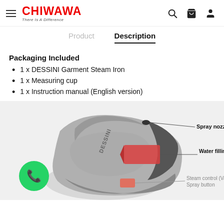CHIWAWA — There Is A Difference
Description
Packaging Included
1 x DESSINI Garment Steam Iron
1 x Measuring cup
1 x Instruction manual (English version)
[Figure (photo): DESSINI Garment Steam Iron product photo with labeled parts: Spray nozzle, Water filling inlet with cap, Steam control (Variable), Spray button]